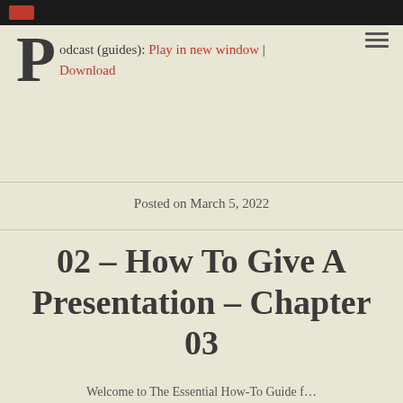[Figure (other): Dark top navigation bar with red logo icon]
Podcast (guides): Play in new window | Download
Posted on March 5, 2022
02 – How To Give A Presentation – Chapter 03
Welcome to The Essential How-To Guide for